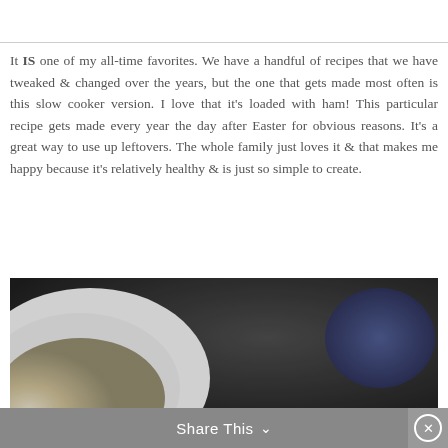[Figure (photo): Top portion of a food photo, partially visible at the top of the page, white background area]
It IS one of my all-time favorites. We have a handful of recipes that we have tweaked & changed over the years, but the one that gets made most often is this slow cooker version. I love that it's loaded with ham! This particular recipe gets made every year the day after Easter for obvious reasons. It's a great way to use up leftovers. The whole family just loves it & that makes me happy because it's relatively healthy & is just so simple to create.
[Figure (photo): Close-up photo of food in a bowl on a dark background with a white bowl visible, blurred style]
Share This ∨